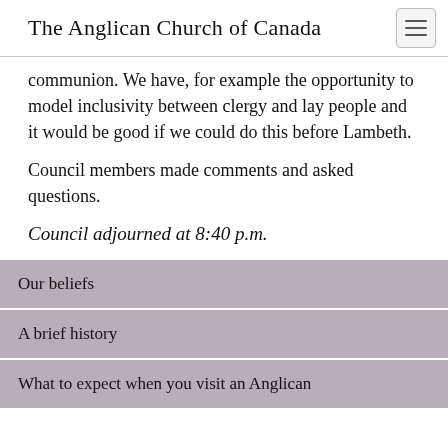The Anglican Church of Canada
communion. We have, for example the opportunity to model inclusivity between clergy and lay people and it would be good if we could do this before Lambeth.
Council members made comments and asked questions.
Council adjourned at 8:40 p.m.
Our beliefs
A brief history
What to expect when you visit an Anglican